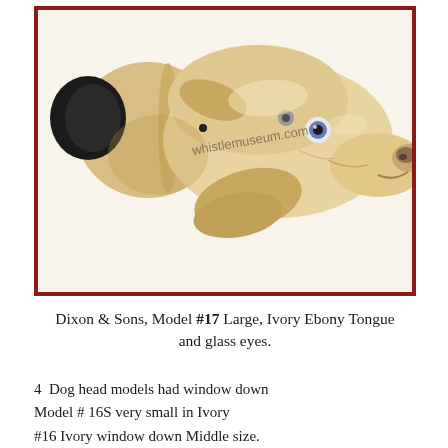[Figure (photo): Photograph of a carved ivory dog head whistle with glass eyes, black ebony tongue, and articulated muzzle, lying on its side. Watermark reads 'whistlemuseum.com'. Framed with a dark red border.]
Dixon & Sons, Model #17 Large, Ivory Ebony Tongue and glass eyes.
4  Dog head models had window down
Model # 16S very small in Ivory
#16 Ivory window down Middle size.